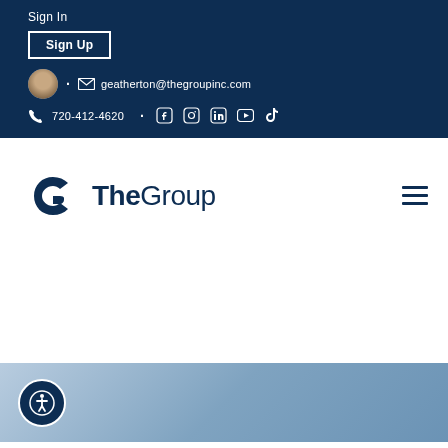Sign In
Sign Up
geatherton@thegroupinc.com
720-412-4620
[Figure (logo): The Group real estate company logo with stylized G icon in dark navy blue]
[Figure (other): Hamburger menu icon (three horizontal lines) in dark navy blue]
[Figure (other): Accessibility icon (person in circle) on dark navy background, bottom left corner. Blue gradient background section visible.]